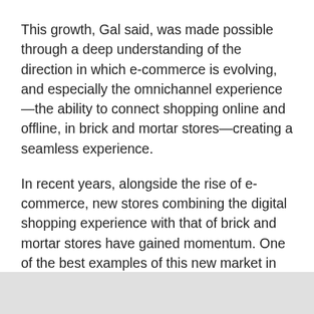This growth, Gal said, was made possible through a deep understanding of the direction in which e-commerce is evolving, and especially the omnichannel experience—the ability to connect shopping online and offline, in brick and mortar stores—creating a seamless experience.
In recent years, alongside the rise of e-commerce, new stores combining the digital shopping experience with that of brick and mortar stores have gained momentum. One of the best examples of this new market in Bonobos, a menswear brand which launched as an online store and later went on to open dozens of brick and mortar stores. But Bonobos stores are not like other stores—they do not keep any stock, instead serving as a place where customers can